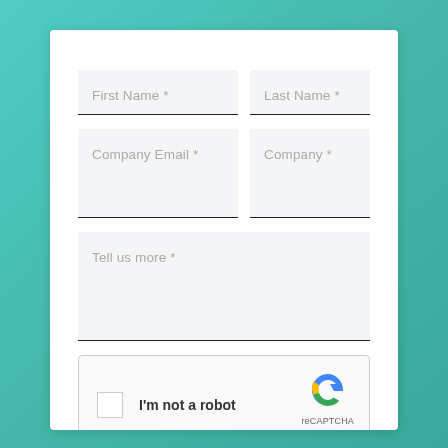First Name *
Last Name *
Company Email *
Company *
Tell us more *
I'm not a robot
reCAPTCHA Privacy · Terms
Submit